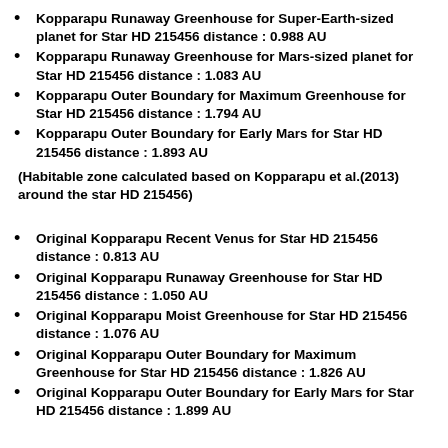Kopparapu Runaway Greenhouse for Super-Earth-sized planet for Star HD 215456 distance : 0.988 AU
Kopparapu Runaway Greenhouse for Mars-sized planet for Star HD 215456 distance : 1.083 AU
Kopparapu Outer Boundary for Maximum Greenhouse for Star HD 215456 distance : 1.794 AU
Kopparapu Outer Boundary for Early Mars for Star HD 215456 distance : 1.893 AU
(Habitable zone calculated based on Kopparapu et al.(2013) around the star HD 215456)
Original Kopparapu Recent Venus for Star HD 215456 distance : 0.813 AU
Original Kopparapu Runaway Greenhouse for Star HD 215456 distance : 1.050 AU
Original Kopparapu Moist Greenhouse for Star HD 215456 distance : 1.076 AU
Original Kopparapu Outer Boundary for Maximum Greenhouse for Star HD 215456 distance : 1.826 AU
Original Kopparapu Outer Boundary for Early Mars for Star HD 215456 distance : 1.899 AU